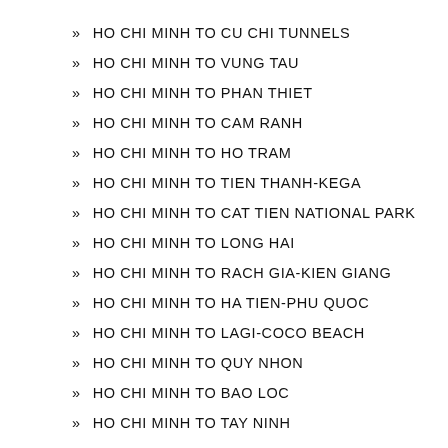HO CHI MINH TO CU CHI TUNNELS
HO CHI MINH TO VUNG TAU
HO CHI MINH TO PHAN THIET
HO CHI MINH TO CAM RANH
HO CHI MINH TO HO TRAM
HO CHI MINH TO TIEN THANH-KEGA
HO CHI MINH TO CAT TIEN NATIONAL PARK
HO CHI MINH TO LONG HAI
HO CHI MINH TO RACH GIA-KIEN GIANG
HO CHI MINH TO HA TIEN-PHU QUOC
HO CHI MINH TO LAGI-COCO BEACH
HO CHI MINH TO QUY NHON
HO CHI MINH TO BAO LOC
HO CHI MINH TO TAY NINH